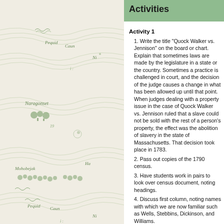[Figure (illustration): Antique hand-drawn map showing regions labeled Pequid, Caun, Ni, Naragonset, Mohobejak, Ha, and other colonial New England place names with decorative cartographic styling]
Activities
Activity 1
1. Write the title "Quock Walker vs. Jennison" on the board or chart. Explain that sometimes laws are made by the legislature in a state or the country. Sometimes a practice is challenged in court, and the decision of the judge causes a change in what has been allowed up until that point. When judges dealing with a property issue in the case of Quock Walker vs. Jennison ruled that a slave could not be sold with the rest of a person's property, the effect was the abolition of slavery in the state of Massachusetts. That decision took place in 1783.
2. Pass out copies of the 1790 census.
3. Have students work in pairs to look over census document, noting headings.
4. Discuss first column, noting names with which we are now familiar such as Wells, Stebbins, Dickinson, and Williams.
5. Ask students to note second column listing free white males over 16. Ask students who this might include. Who might be living in the households in addition to family members? (servants, boarders, and other workers)
6. Ask students to note third column listing free white males under 16 years of age. Who might this include other than family members? (apprentices, indentured servants,